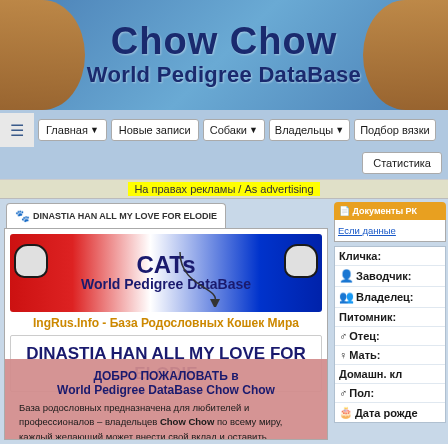[Figure (screenshot): Chow Chow World Pedigree DataBase website header banner with blue gradient background and dog images on sides]
Chow Chow World Pedigree DataBase
[Figure (screenshot): Navigation bar with buttons: Главная, Новые записи, Собаки, Владельцы, Подбор вязки, Статистика]
На правах рекламы / As advertising
DINASTIA HAN ALL MY LOVE FOR ELODIE
Документы РК
Если данные
[Figure (screenshot): CATs World Pedigree DataBase banner with Russian and UK flags]
IngRus.Info - База Родословных Кошек Мира
DINASTIA HAN ALL MY LOVE FOR ELODIE
ДОБРО ПОЖАЛОВАТЬ в World Pedigree DataBase Chow Chow
База родословных предназначена для любителей и профессионалов – владельцев Chow Chow по всему миру, каждый желающий может внести свой вклад и оставить информацию о своих и чужих собаках, а также использовать данные материалы без ограничений.
Чтобы использовать все функции в полном объеме, пожалуйста ЗАРЕГИСТРИРУЙТЕСЬ или войдите в ПРОФИЛЬ.
Кличка:
Заводчик:
Владелец:
Питомник:
Отец:
Мать:
Домашн. кл
Пол:
Дата рожде